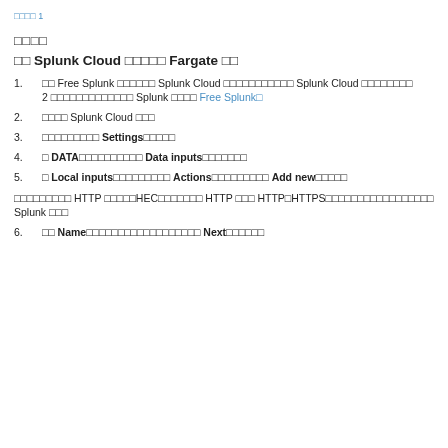□□□□ 1
□□□□
□□ Splunk Cloud □□□□□ Fargate □□
1. □□ Free Splunk □□□□□□ Splunk Cloud □□□□□□□□□□□ Splunk Cloud □□□□□□□□ 2 □□□□□□□□□□□□□ Splunk □□□□ Free Splunk□
2. □□□□ Splunk Cloud □□□
3. □□□□□□□□□ Settings□□□□□
4. □ DATA□□□□□□□□□□ Data inputs□□□□□□□
5. □ Local inputs□□□□□□□□□ Actions□□□□□□□□□ Add new□□□□□
□□□□□□□□□ HTTP □□□□□HEC□□□□□□□ HTTP □□□ HTTP□HTTPS□□□□□□□□□□□□□□□□□ Splunk □□□
6. □□ Name□□□□□□□□□□□□□□□□□□ Next□□□□□□